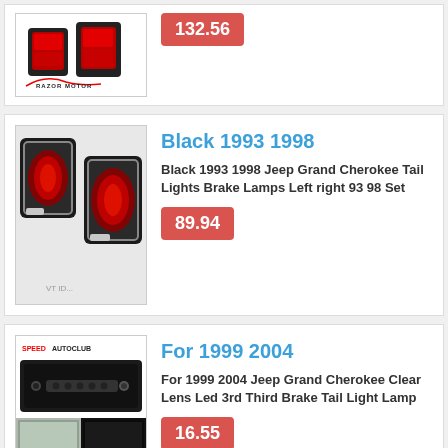[Figure (photo): Razor Motor tail light product image with logo, partially visible at top]
132.56
[Figure (photo): Black 1993 1998 Jeep Grand Cherokee tail lights, pair shown]
Black 1993 1998
Black 1993 1998 Jeep Grand Cherokee Tail Lights Brake Lamps Left right 93 98 Set
89.94
[Figure (photo): SpeedAutoClub third brake light product image showing the light and installed on a Jeep]
For 1999 2004
For 1999 2004 Jeep Grand Cherokee Clear Lens Led 3rd Third Brake Tail Light Lamp
16.55